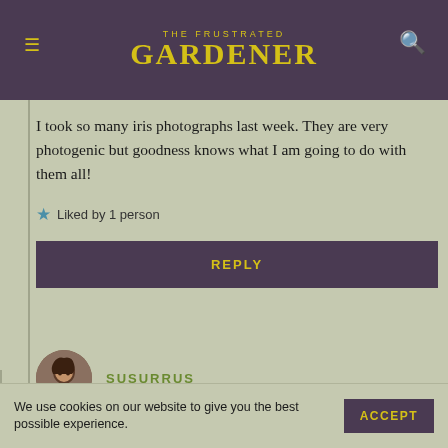THE FRUSTRATED GARDENER
I took so many iris photographs last week. They are very photogenic but goodness knows what I am going to do with them all!
Liked by 1 person
REPLY
SUSURRUS
May 30, 2019 at 4:33 pm
You'll find a home for them, I'm sure. There are times of the year when it's natural
We use cookies on our website to give you the best possible experience.